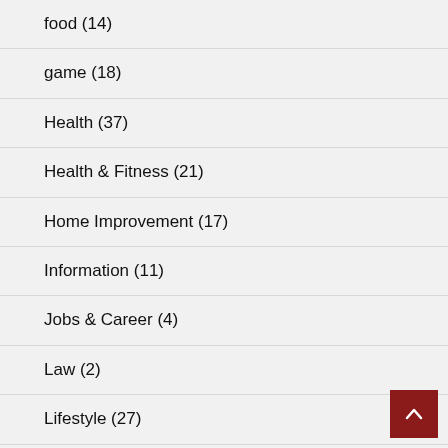food (14)
game (18)
Health (37)
Health & Fitness (21)
Home Improvement (17)
Information (11)
Jobs & Career (4)
Law (2)
Lifestyle (27)
Marketing (1)